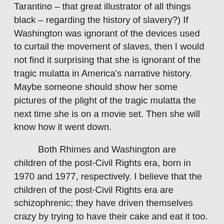Tarantino – that great illustrator of all things black – regarding the history of slavery?) If Washington was ignorant of the devices used to curtail the movement of slaves, then I would not find it surprising that she is ignorant of the tragic mulatta in America's narrative history. Maybe someone should show her some pictures of the plight of the tragic mulatta the next time she is on a movie set. Then she will know how it went down.
Both Rhimes and Washington are children of the post-Civil Rights era, born in 1970 and 1977, respectively. I believe that the children of the post-Civil Rights era are schizophrenic; they have driven themselves crazy by trying to have their cake and eat it too. On this topic, I too agree with Kenneth Warren (and I hate to agree with him on anything). In the effort to continue the legacies of Truth, King and Jordan and live out their ambitions as Americans, children of the post-Civil Rights era have lost sight of their history and at times their humanity. God bless 'em! They are, collectively, an underdeveloped bunch with the weight and promise of an entire race on their shoulders. And,